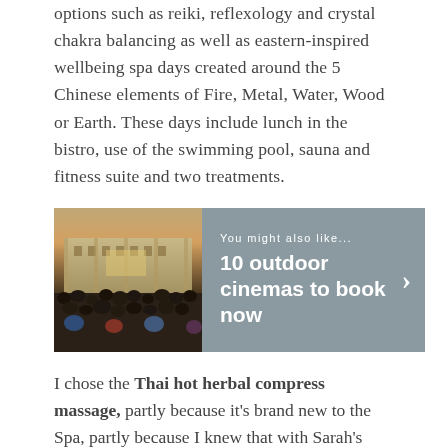options such as reiki, reflexology and crystal chakra balancing as well as eastern-inspired wellbeing spa days created around the 5 Chinese elements of Fire, Metal, Water, Wood or Earth. These days include lunch in the bistro, use of the swimming pool, sauna and fitness suite and two treatments.
[Figure (photo): Promotional banner with a photo of an outdoor cinema event with a crowd in front of a large building at dusk, and a grey overlay panel with text 'You might also like... 10 outdoor cinemas to book now' with a right arrow.]
I chose the Thai hot herbal compress massage, partly because it's brand new to the Spa, partly because I knew that with Sarah's experience living in Thailand it would be authentic, and also because it had the magic word 'healing' in its